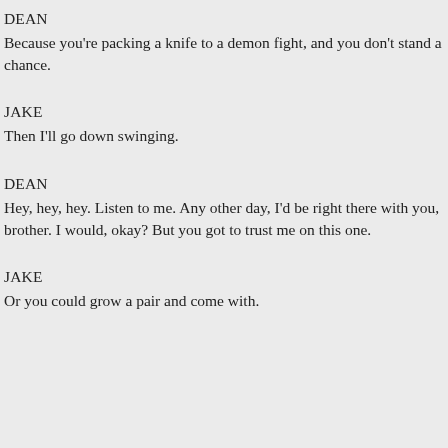DEAN
Because you're packing a knife to a demon fight, and you don't stand a chance.
JAKE
Then I'll go down swinging.
DEAN
Hey, hey, hey. Listen to me. Any other day, I'd be right there with you, brother. I would, okay? But you got to trust me on this one.
JAKE
Or you could grow a pair and come with.